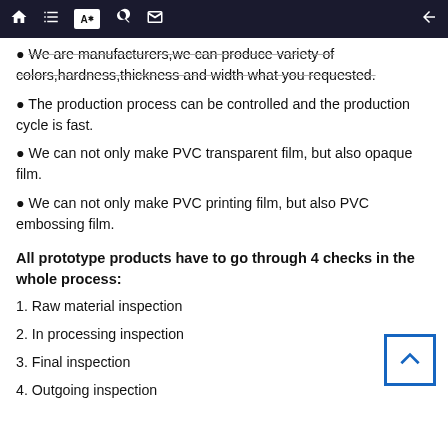[Navigation bar with home, list, translate, search, mail icons and back arrow]
• We are manufacturers,we can produce variety of colors,hardness,thickness and width what you requested.
• The production process can be controlled and the production cycle is fast.
• We can not only make PVC transparent film, but also opaque film.
• We can not only make PVC printing film, but also PVC embossing film.
All prototype products have to go through 4 checks in the whole process:
1. Raw material inspection
2. In processing inspection
3. Final inspection
4. Outgoing inspection